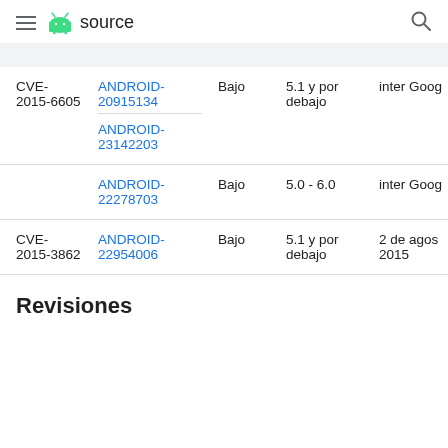source
| CVE | Referencias | Gravedad | Versiones afectadas | Fecha de notificación |
| --- | --- | --- | --- | --- |
| CVE-2015-6605 | ANDROID-20915134
ANDROID-23142203 | Bajo | 5.1 y por debajo | inter Goog |
|  | ANDROID-22278703 | Bajo | 5.0 - 6.0 | inter Goog |
| CVE-2015-3862 | ANDROID-22954006 | Bajo | 5.1 y por debajo | 2 de agos 2015 |
Revisiones